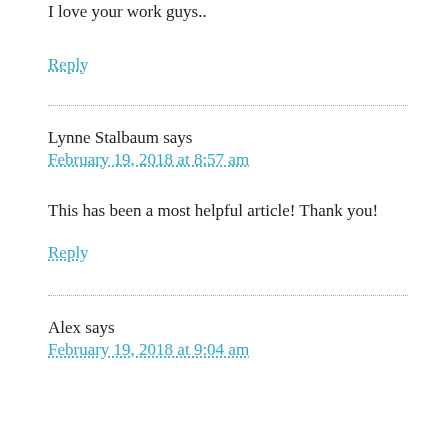I love your work guys..
Reply
Lynne Stalbaum says
February 19, 2018 at 8:57 am
This has been a most helpful article! Thank you!
Reply
Alex says
February 19, 2018 at 9:04 am